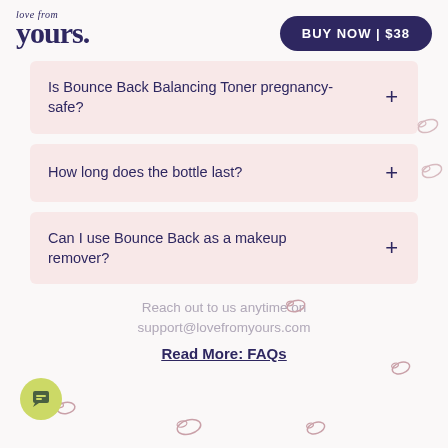love from yours. | BUY NOW | $38
Is Bounce Back Balancing Toner pregnancy-safe?
How long does the bottle last?
Can I use Bounce Back as a makeup remover?
Reach out to us anytime on support@lovefromyours.com
Read More: FAQs